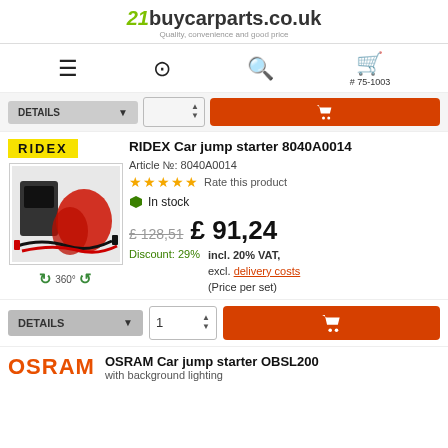21buycarparts.co.uk — Quality, convenience and good price
[Figure (screenshot): Navigation bar with hamburger menu, user icon, search icon, and cart icon with number 75-1003]
[Figure (screenshot): Top add-to-cart action bar with DETAILS button, quantity selector, and orange cart button]
[Figure (photo): RIDEX brand badge (yellow background) and product image of car jump starter with red gloves and cables]
RIDEX Car jump starter 8040A0014
Article №: 8040A0014
★★★★★ Rate this product
In stock
£ 128,51  £ 91,24
Discount: 29%  incl. 20% VAT, excl. delivery costs (Price per set)
[Figure (screenshot): 360° view icon]
[Figure (screenshot): Bottom add-to-cart bar with DETAILS dropdown, quantity 1 selector, and orange cart button]
OSRAM Car jump starter OBSL200
with background lighting